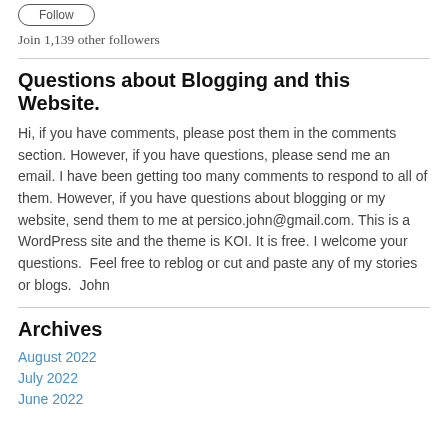[Figure (other): Follow button widget (rounded rectangle button)]
Join 1,139 other followers
Questions about Blogging and this Website.
Hi, if you have comments, please post them in the comments section. However, if you have questions, please send me an email. I have been getting too many comments to respond to all of them. However, if you have questions about blogging or my website, send them to me at persico.john@gmail.com. This is a WordPress site and the theme is KOI. It is free. I welcome your questions.  Feel free to reblog or cut and paste any of my stories or blogs.  John
Archives
August 2022
July 2022
June 2022